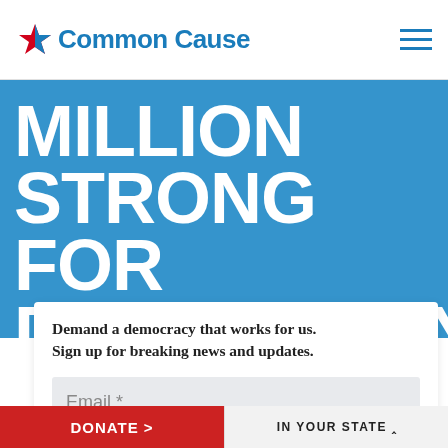Common Cause
MILLION STRONG FOR DEMOCRACY
Demand a democracy that works for us. Sign up for breaking news and updates.
Email *
DONATE >  IN YOUR STATE ^